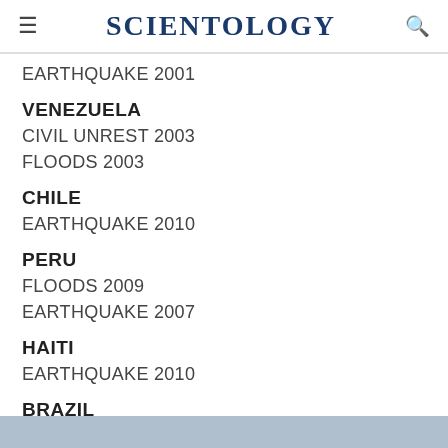SCIENTOLOGY
EARTHQUAKE 2001
VENEZUELA
CIVIL UNREST 2003
FLOODS 2003
CHILE
EARTHQUAKE 2010
PERU
FLOODS 2009
EARTHQUAKE 2007
HAITI
EARTHQUAKE 2010
BRAZIL